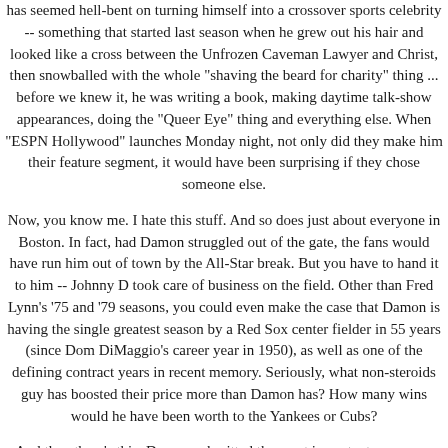has seemed hell-bent on turning himself into a crossover sports celebrity -- something that started last season when he grew out his hair and looked like a cross between the Unfrozen Caveman Lawyer and Christ, then snowballed with the whole "shaving the beard for charity" thing ... before we knew it, he was writing a book, making daytime talk-show appearances, doing the "Queer Eye" thing and everything else. When "ESPN Hollywood" launches Monday night, not only did they make him their feature segment, it would have been surprising if they chose someone else.
Now, you know me. I hate this stuff. And so does just about everyone in Boston. In fact, had Damon struggled out of the gate, the fans would have run him out of town by the All-Star break. But you have to hand it to him -- Johnny D took care of business on the field. Other than Fred Lynn's '75 and '79 seasons, you could even make the case that Damon is having the single greatest season by a Red Sox center fielder in 55 years (since Dom DiMaggio's career year in 1950), as well as one of the defining contract years in recent memory. Seriously, what non-steroids guy has boosted their price more than Damon has? How many wins would he have been worth to the Yankees or Cubs?
And then there's this: Damon submitted the most important one-game performance of any Boston player this season, which everyone will probably forget if/when the Sox win the division title by 10 games.